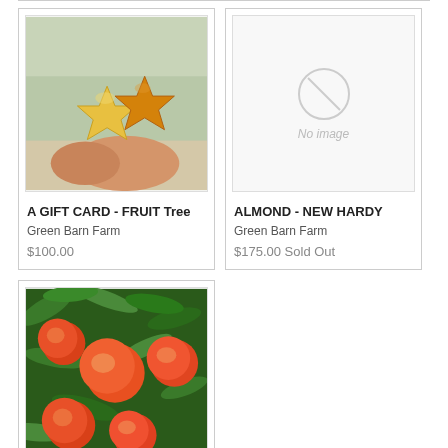[Figure (photo): Product card: A GIFT CARD - FRUIT Tree. Photo of two star fruit (carambola) held in a hand. Green Barn Farm. $100.00.]
A GIFT CARD - FRUIT Tree
Green Barn Farm
$100.00
[Figure (photo): Product card: ALMOND - NEW HARDY. No image placeholder shown. Green Barn Farm. $175.00 Sold Out.]
ALMOND - NEW HARDY
Green Barn Farm
$175.00 Sold Out
[Figure (photo): Product card (partial): Photo of peaches growing on a tree with green leaves.]